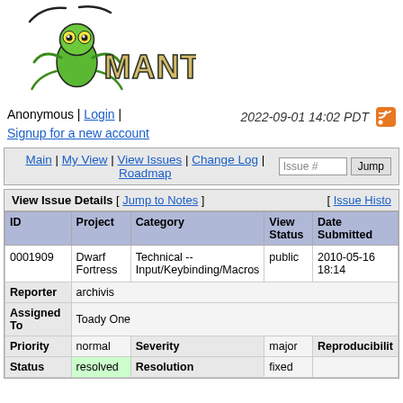[Figure (logo): Mantis Bug Tracker logo with praying mantis illustration and MANTIS text]
Anonymous | Login | Signup for a new account    2022-09-01 14:02 PDT
Main | My View | View Issues | Change Log | Roadmap   Issue # [input] Jump [button]
| View Issue Details [ Jump to Notes ] | [ Issue Histo |
| --- | --- |
| ID | Project | Category | View Status | Date Submitted |
| 0001909 | Dwarf Fortress | Technical -- Input/Keybinding/Macros | public | 2010-05-16 18:14 |
| Reporter | archivis |  |  |  |
| Assigned To | Toady One |  |  |  |
| Priority | normal | Severity | major | Reproducibilit |
| Status | resolved | Resolution | fixed |  |